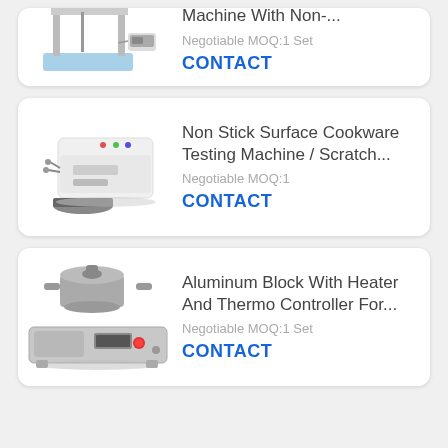[Figure (photo): Partial product card showing a lab testing machine on a blue base with a digital display unit, partially cropped at top]
Machine With Non-...
Negotiable MOQ:1 Set
CONTACT
[Figure (photo): Non stick surface cookware testing machine - white rectangular device with control panel and probes, with a pan/cookware piece]
Non Stick Surface Cookware Testing Machine / Scratch...
Negotiable MOQ:1
CONTACT
[Figure (photo): Aluminum block testing device with heater and thermo controller - a silver pot/cookware sitting on a horizontal heating instrument with red button and digital display]
Aluminum Block With Heater And Thermo Controller For...
Negotiable MOQ:1 Set
CONTACT